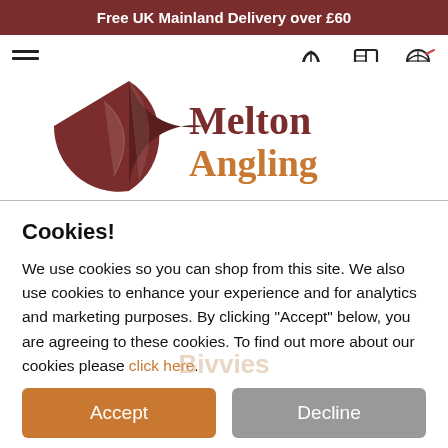Free UK Mainland Delivery over £60
[Figure (screenshot): Navigation bar with hamburger menu icon labeled 'Menu' on left, and Contact (phone icon), Account (book icon), Basket (fishing net icon) on the right]
[Figure (logo): Melton Angling logo - dark red umbrella/circular logo mark with 'Melton' in dark red serif font and 'Angling' in orange serif font]
Cookies!
We use cookies so you can shop from this site. We also use cookies to enhance your experience and for analytics and marketing purposes. By clicking "Accept" below, you are agreeing to these cookies. To find out more about our cookies please click here.
Accept
Bivvies
Decline